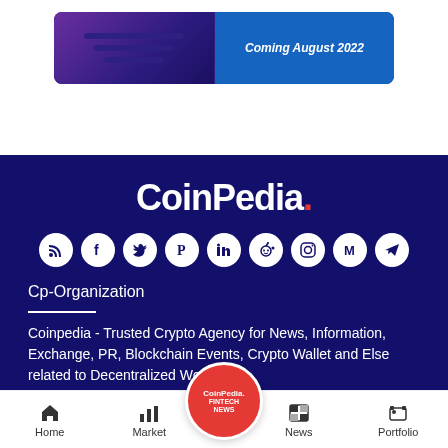[Figure (screenshot): Preview card showing dark purple interface with 'Coming August 2022' text on blue background]
[Figure (logo): CoinPedia. logo in white text with red dot on dark navy background]
[Figure (infographic): Row of 9 social media icons: RSS, Facebook, Twitter, Pinterest, LinkedIn, Reddit, Instagram, Medium, Telegram — white circles on dark navy background]
Cp-Organization
Coinpedia - Trusted Crypto Agency for News, Information, Exchange, PR, Blockchain Events, Crypto Wallet and Else related to Decentralized World.
Home  Market  [CoinPedia Fintech News]  News  Portfolio